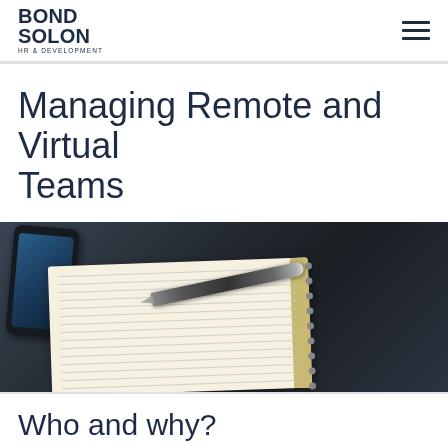BOND SOLON — HR & DEVELOPMENT
Managing Remote and Virtual Teams
[Figure (photo): Overhead photo of a dark wood desk with a smartphone, an open spiral notebook with lined pages, and a pen resting on the notebook]
Who and why?